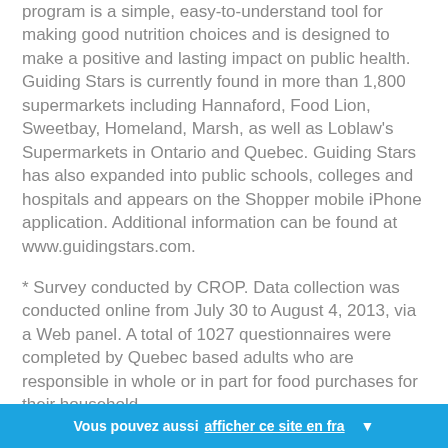program is a simple, easy-to-understand tool for making good nutrition choices and is designed to make a positive and lasting impact on public health. Guiding Stars is currently found in more than 1,800 supermarkets including Hannaford, Food Lion, Sweetbay, Homeland, Marsh, as well as Loblaw's Supermarkets in Ontario and Quebec. Guiding Stars has also expanded into public schools, colleges and hospitals and appears on the Shopper mobile iPhone application. Additional information can be found at www.guidingstars.com.
* Survey conducted by CROP. Data collection was conducted online from July 30 to August 4, 2013, via a Web panel. A total of 1027 questionnaires were completed by Quebec based adults who are responsible in whole or in part for food purchases for their household.
The results were weighted to reflect the distribution of the
Vous pouvez aussi afficher ce site en fra